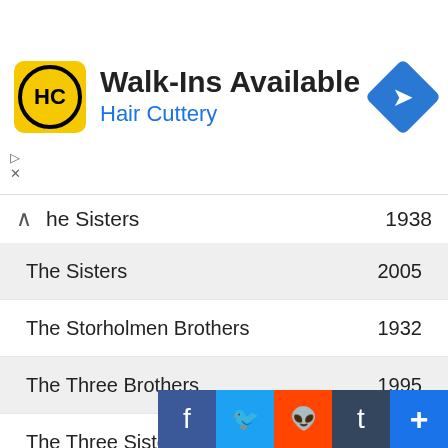[Figure (screenshot): Hair Cuttery advertisement banner with logo, 'Walk-Ins Available' heading, 'Hair Cuttery' subheading in blue, and a blue navigation arrow icon on the right]
| Title | Year |
| --- | --- |
| he Sisters (partial) | 1938 |
| The Sisters | 2005 |
| The Storholmen Brothers | 1932 |
| The Three Brothers | 1995 |
| The Three Sisters | 1966 |
| The Three Sisters | 1970 |
| The Three Weird Sisters | 1948 |
| The Two Brothers | 1910 |
| The Weird ... (partial) |  |
[Figure (screenshot): Social share buttons for Facebook, Twitter, Reddit, Tumblr, and a More (+) button at the bottom right]